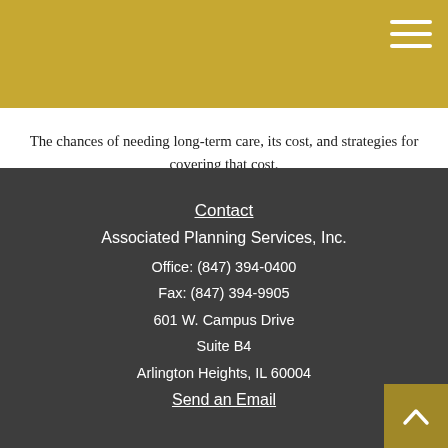The chances of needing long-term care, its cost, and strategies for covering that cost.
Contact
Associated Planning Services, Inc.
Office: (847) 394-0400
Fax: (847) 394-9905
601 W. Campus Drive
Suite B4
Arlington Heights, IL 60004
Send an Email